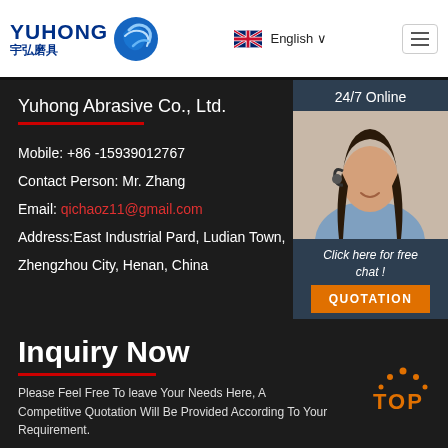[Figure (logo): Yuhong Abrasive logo with blue wave icon and Chinese text 宇弘磨具]
English ∨
Yuhong Abrasive Co., Ltd.
Mobile: +86 -15939012767
Contact Person: Mr. Zhang
Email: qichaoz11@gmail.com
Address:East Industrial Pard, Ludian Town, Zhengzhou City, Henan, China
[Figure (photo): Customer service agent woman with headset smiling, 24/7 Online chat widget]
Click here for free chat !
QUOTATION
Inquiry Now
Please Feel Free To leave Your Needs Here, A Competitive Quotation Will Be Provided According To Your Requirement.